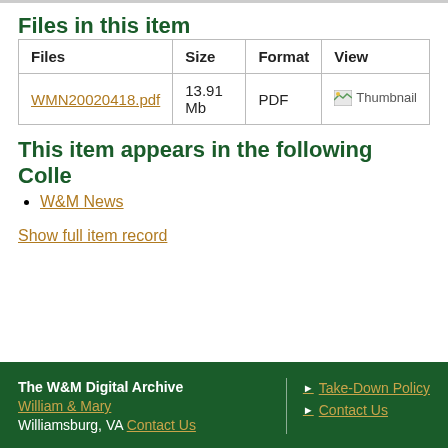Files in this item
| Files | Size | Format | View |
| --- | --- | --- | --- |
| WMN20020418.pdf | 13.91 Mb | PDF | Thumbnail |
This item appears in the following Colle
W&M News
Show full item record
The W&M Digital Archive William & Mary Williamsburg, VA Contact Us | Take-Down Policy Contact Us